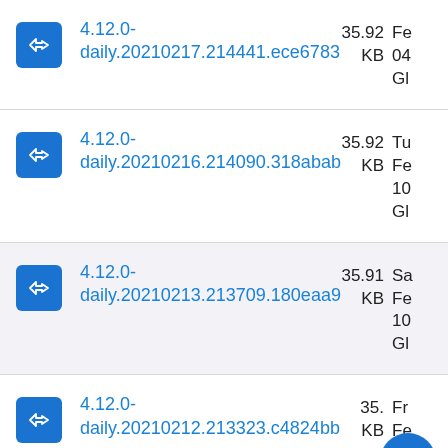4.12.0-daily.20210217.214441.ece6783  35.92 KB  Fe 04 Gl
4.12.0-daily.20210216.214090.318abab  35.92 KB  Tu Fe 10 Gl
4.12.0-daily.20210213.213709.180eaa9  35.91 KB  Sa Fe 10 Gl
4.12.0-daily.20210212.213323.c4824bb  35.__ KB  Fr Fe 10 Gl